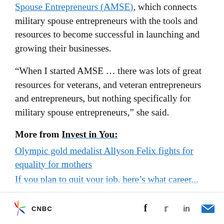Spouse Entrepreneurs (AMSE), which connects military spouse entrepreneurs with the tools and resources to become successful in launching and growing their businesses.
“When I started AMSE … there was lots of great resources for veterans, and veteran entrepreneurs and entrepreneurs, but nothing specifically for military spouse entrepreneurs,” she said.
More from Invest in You:
Olympic gold medalist Allyson Felix fights for equality for mothers
If you plan to quit your job, here’s what career...
CNBC | social icons: Facebook, Twitter, LinkedIn, Email